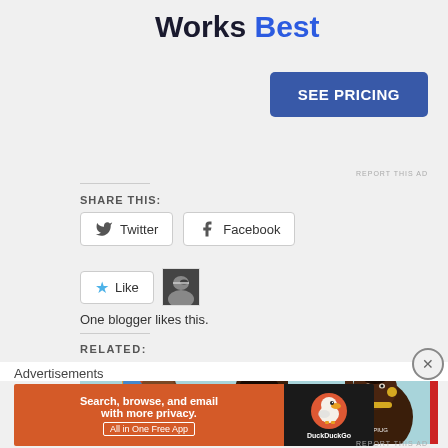[Figure (other): Top of page with bold text 'Works Best' and blue 'SEE PRICING' button on grey background]
REPORT THIS AD
SHARE THIS:
[Figure (other): Twitter social share button]
[Figure (other): Facebook social share button]
[Figure (other): Like button with star and avatar thumbnail]
One blogger likes this.
RELATED:
[Figure (illustration): Comic/cartoon illustration showing three Black characters with gold jewelry, chains and accessories. Text visible: 'JEWERLY KID' and 'RDBYOPIVG']
Advertisements
[Figure (other): DuckDuckGo advertisement banner: 'Search, browse, and email with more privacy. All in One Free App' on orange/dark background with DuckDuckGo logo]